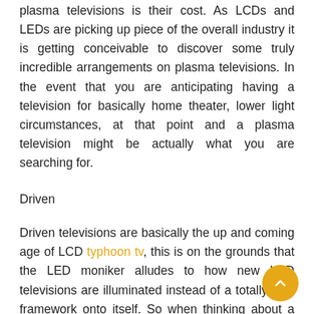plasma televisions is their cost. As LCDs and LEDs are picking up piece of the overall industry it is getting conceivable to discover some truly incredible arrangements on plasma televisions. In the event that you are anticipating having a television for basically home theater, lower light circumstances, at that point and a plasma television might be actually what you are searching for.
Driven
Driven televisions are basically the up and coming age of LCD typhoon tv, this is on the grounds that the LED moniker alludes to how new LCD televisions are illuminated instead of a totally new framework onto itself. So when thinking about a LED television you can expect a portion of similar advantages likewise with a LCD like low force utilization, a slim